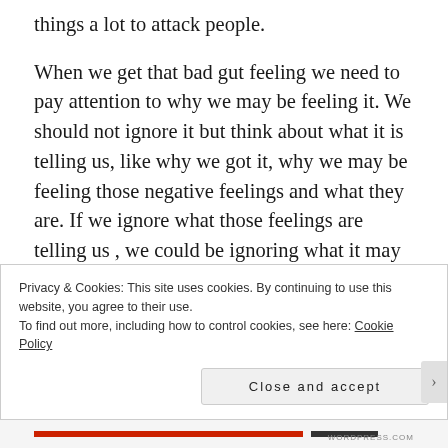things a lot to attack people.
When we get that bad gut feeling we need to pay attention to why we may be feeling it. We should not ignore it but think about what it is telling us, like why we got it, why we may be feeling those negative feelings and what they are. If we ignore what those feelings are telling us , we could be ignoring what it may be telling us about ourselves or even someone else. If we ignore those feelings it can develop into negative emotions such as anger, frustration, jealousy or resentment. This could be
Privacy & Cookies: This site uses cookies. By continuing to use this website, you agree to their use.
To find out more, including how to control cookies, see here: Cookie Policy
Close and accept